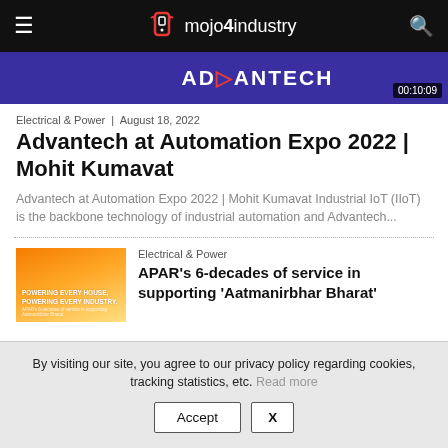mojo4industry
[Figure (screenshot): ADVANTECH video thumbnail with timer showing 00:10:09]
Electrical & Power | August 18, 2022
Advantech at Automation Expo 2022 | Mohit Kumavat
Advantech at Automation Expo 2022 | Mohit Kumavat Industrial IoT (IIoT) is the backbone technology of industrial automation and Advantech...
[Figure (photo): APAR orange branded thumbnail - Powering Every House, Powering Every Industry]
Electrical & Power
APAR's 6-decades of service in supporting 'Aatmanirbhar Bharat'
By visiting our site, you agree to our privacy policy regarding cookies, tracking statistics, etc. Read more